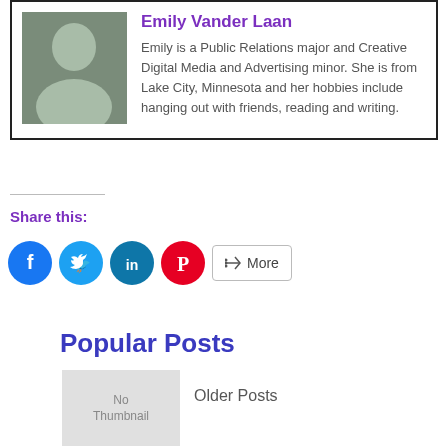Emily Vander Laan
Emily is a Public Relations major and Creative Digital Media and Advertising minor. She is from Lake City, Minnesota and her hobbies include hanging out with friends, reading and writing.
Share this:
[Figure (infographic): Social share buttons: Facebook (blue circle), Twitter (light blue circle), LinkedIn (dark teal circle), Pinterest (red circle), and a More button with share icon]
Popular Posts
[Figure (photo): No Thumbnail placeholder image]
Older Posts